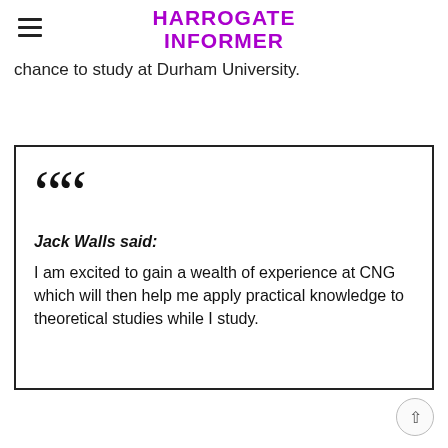HARROGATE INFORMER
chance to study at Durham University.
Jack Walls said:
I am excited to gain a wealth of experience at CNG which will then help me apply practical knowledge to theoretical studies while I study.